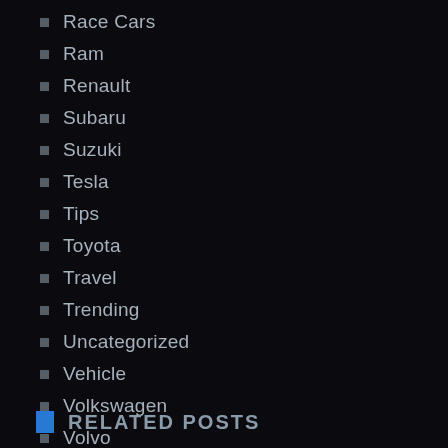Race Cars
Ram
Renault
Subaru
Suzuki
Tesla
Tips
Toyota
Travel
Trending
Uncategorized
Vehicle
Volkswagen
Volvo
RELATED POSTS